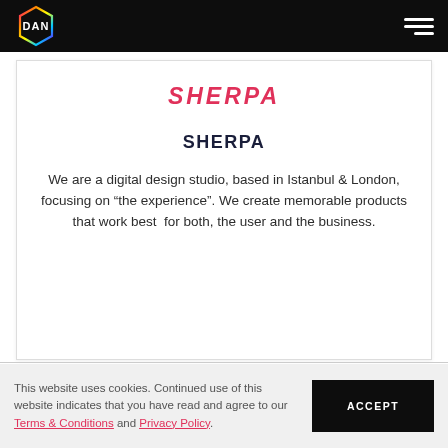DAN (logo) | hamburger menu
[Figure (logo): SHERPA logo in pink/red italic bold text]
SHERPA
We are a digital design studio, based in Istanbul & London, focusing on “the experience”. We create memorable products that work best for both, the user and the business.
This website uses cookies. Continued use of this website indicates that you have read and agree to our Terms & Conditions and Privacy Policy.